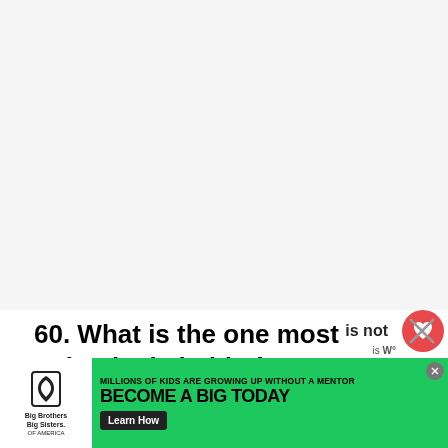[Figure (other): Large blank/white content area at top of page, likely an image placeholder]
60. What is the one most unhygienic habit that you recently got rid of?
[Figure (other): Advertisement banner: Big Brothers Big Sisters of America. Text reads: MILLIONS OF KIDS ARE GROWING UP WITHOUT A MENTOR. BECOME A BIG TODAY. Learn How button.]